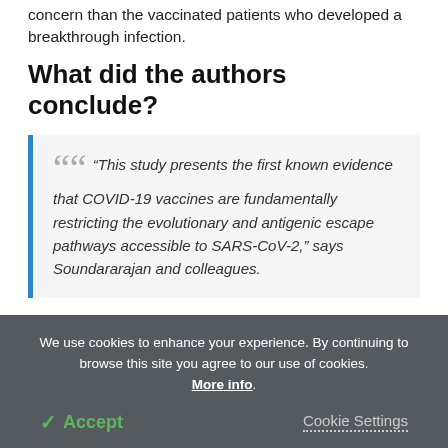concern than the vaccinated patients who developed a breakthrough infection.
What did the authors conclude?
“This study presents the first known evidence that COVID-19 vaccines are fundamentally restricting the evolutionary and antigenic escape pathways accessible to SARS-CoV-2,” says Soundararajan and colleagues.
We use cookies to enhance your experience. By continuing to browse this site you agree to our use of cookies. More info. Accept Cookie Settings